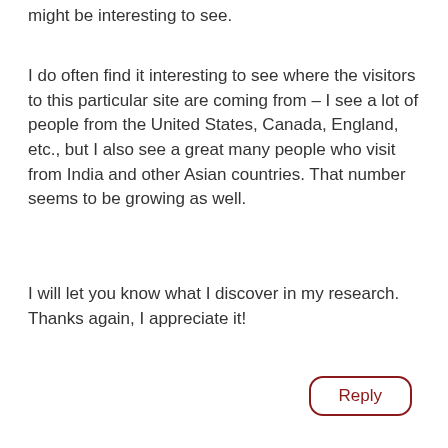might be interesting to see.
I do often find it interesting to see where the visitors to this particular site are coming from – I see a lot of people from the United States, Canada, England, etc., but I also see a great many people who visit from India and other Asian countries. That number seems to be growing as well.
I will let you know what I discover in my research. Thanks again, I appreciate it!
Reply